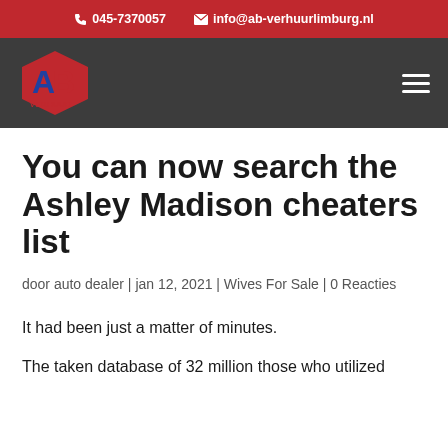045-7370057  info@ab-verhuurlimburg.nl
[Figure (logo): AB Verhuur logo with red and blue letters on dark grey navigation bar with hamburger menu icon]
You can now search the Ashley Madison cheaters list
door auto dealer | jan 12, 2021 | Wives For Sale | 0 Reacties
It had been just a matter of minutes.
The taken database of 32 million those who utilized